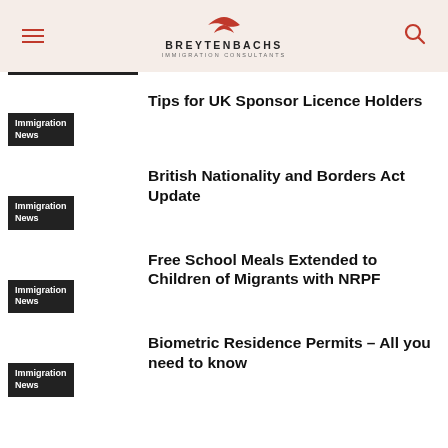BREYTENBACHS IMMIGRATION CONSULTANTS
Tips for UK Sponsor Licence Holders
Immigration News
British Nationality and Borders Act Update
Immigration News
Free School Meals Extended to Children of Migrants with NRPF
Immigration News
Biometric Residence Permits – All you need to know
Immigration News